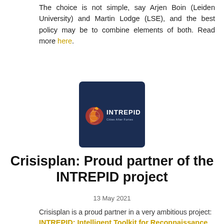The choice is not simple, say Arjen Boin (Leiden University) and Martin Lodge (LSE), and the best policy may be to combine elements of both. Read more here.
[Figure (logo): INTREPID project logo — dark navy blue square with a flame/globe icon on the left and 'INTREPID' in white bold text, subtitle 'Cities After Fortes' in smaller grey text]
Crisisplan: Proud partner of the INTREPID project
13 May 2021
Crisisplan is a proud partner in a very ambitious project:
INTREPID: Intelligent Toolkit for Reconnaissance